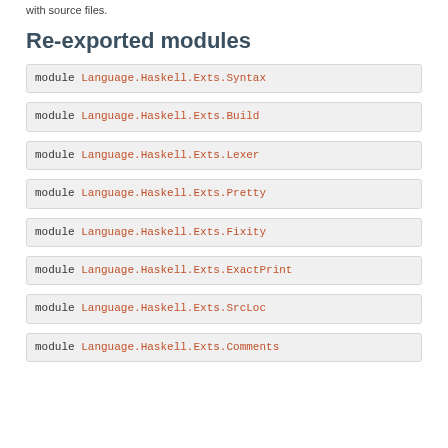with source files.
Re-exported modules
module Language.Haskell.Exts.Syntax
module Language.Haskell.Exts.Build
module Language.Haskell.Exts.Lexer
module Language.Haskell.Exts.Pretty
module Language.Haskell.Exts.Fixity
module Language.Haskell.Exts.ExactPrint
module Language.Haskell.Exts.SrcLoc
module Language.Haskell.Exts.Comments